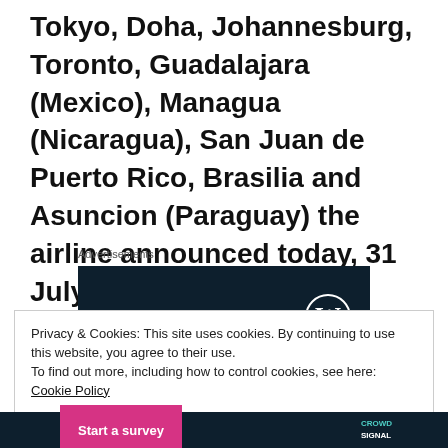Tokyo, Doha, Johannesburg, Toronto, Guadalajara (Mexico), Managua (Nicaragua), San Juan de Puerto Rico, Brasilia and Asuncion (Paraguay) the airline announced today, 31 July 2015.
Advertisements
[Figure (screenshot): Dark navy advertisement banner with WordPress logo (W in circle) on the right side]
Privacy & Cookies: This site uses cookies. By continuing to use this website, you agree to their use.
To find out more, including how to control cookies, see here: Cookie Policy
Close and accept
[Figure (screenshot): Bottom dark banner with pink 'Start a survey' button and CrowdSignal logo]